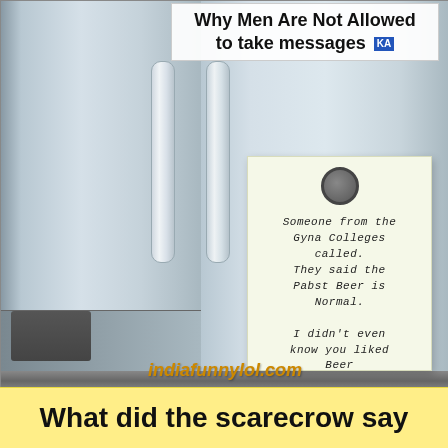[Figure (photo): Humorous image of a refrigerator with a handwritten note stuck on it. The note reads: 'Someone from the Gyna Colleges called. They said the Pabst Beer is normal. I didn't even know you liked Beer'. The image has a title overlay at the top reading 'Why Men Are Not Allowed to take messages' with a 'KA' badge. At the bottom of the fridge image is the watermark 'indiafunnylol.com'.]
What did the scarecrow say